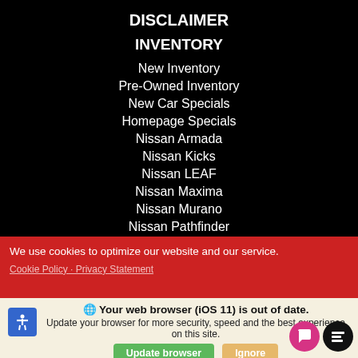DISCLAIMER
INVENTORY
New Inventory
Pre-Owned Inventory
New Car Specials
Homepage Specials
Nissan Armada
Nissan Kicks
Nissan LEAF
Nissan Maxima
Nissan Murano
Nissan Pathfinder
Nissan Rogue
Nissan Sentra
We use cookies to optimize our website and our service.
Cookie Policy · Privacy Statement
🌐 Your web browser (iOS 11) is out of date. Update your browser for more security, speed and the best experience on this site.
Update browser | Ignore